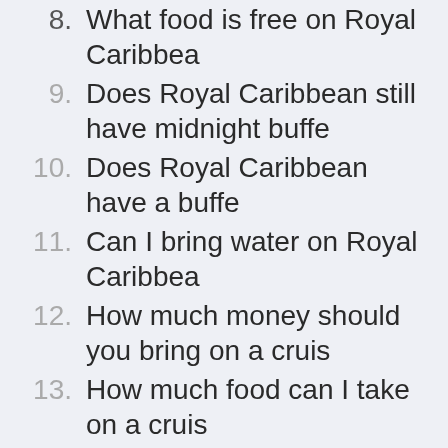8. What food is free on Royal Caribbea
9. Does Royal Caribbean still have midnight buffe
10. Does Royal Caribbean have a buffe
11. Can I bring water on Royal Caribbea
12. How much money should you bring on a cruis
13. How much food can I take on a cruis
14. Is water free on Royal Caribbean Cruise
15. Do Royal Caribbean rooms